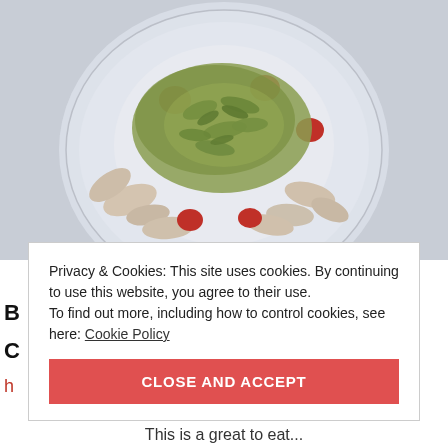[Figure (photo): A glass plate with sliced mushrooms, strawberries, and fennel topped with a green herb sauce/dressing, served on a light blue-grey surface.]
Privacy & Cookies: This site uses cookies. By continuing to use this website, you agree to their use.
To find out more, including how to control cookies, see here: Cookie Policy
CLOSE AND ACCEPT
This is a great to eat...